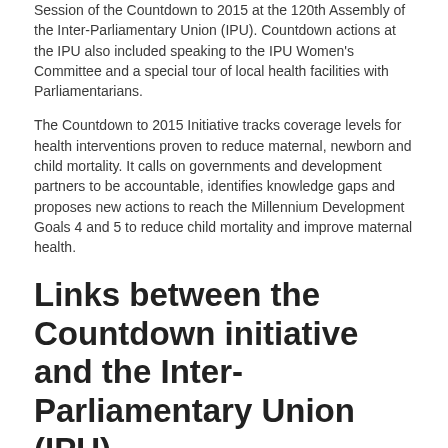Session of the Countdown to 2015 at the 120th Assembly of the Inter-Parliamentary Union (IPU). Countdown actions at the IPU also included speaking to the IPU Women's Committee and a special tour of local health facilities with Parliamentarians.
The Countdown to 2015 Initiative tracks coverage levels for health interventions proven to reduce maternal, newborn and child mortality. It calls on governments and development partners to be accountable, identifies knowledge gaps and proposes new actions to reach the Millennium Development Goals 4 and 5 to reduce child mortality and improve maternal health.
Links between the Countdown initiative and the Inter-Parliamentary Union (IPU)
The Countdown 2008 Conference took place in conjunction with the 118th Assembly of the Inter-Parliamentary Union (IPU) held in Cape Town, South Africa, on 13-18 April.